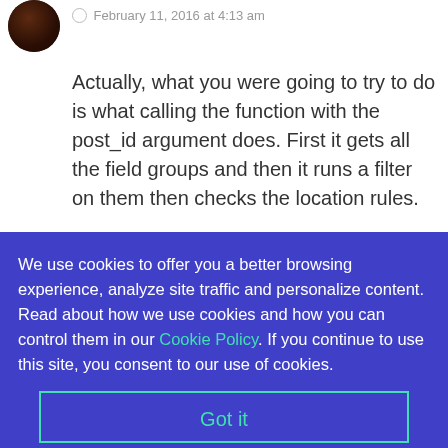[Figure (photo): Circular avatar photo of a person with dark hair/features on a dark background]
February 11, 2016 at 4:13 am
Actually, what you were going to try to do is what calling the function with the post_id argument does. First it gets all the field groups and then it runs a filter on them then checks the location rules.
We use cookies to offer you a better browsing experience, analyze site traffic and personalize content. Read about how we use cookies and how you can control them in our Cookie Policy. If you continue to use this site, you consent to our use of cookies.
Got it